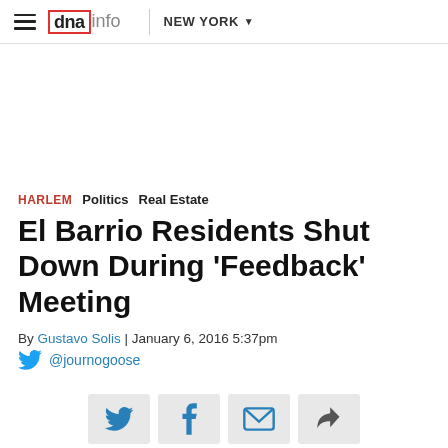dnainfo | NEW YORK
HARLEM  Politics  Real Estate
El Barrio Residents Shut Down During 'Feedback' Meeting
By Gustavo Solis | January 6, 2016 5:37pm
@journogoose